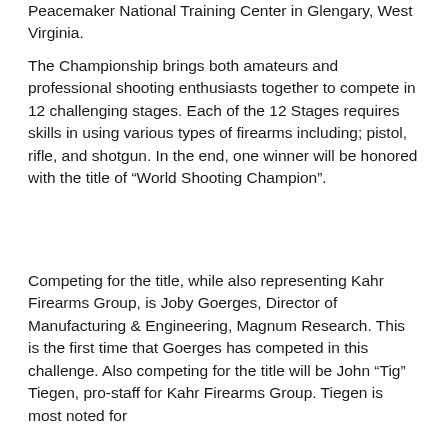Peacemaker National Training Center in Glengary, West Virginia.
The Championship brings both amateurs and professional shooting enthusiasts together to compete in 12 challenging stages. Each of the 12 Stages requires skills in using various types of firearms including; pistol, rifle, and shotgun. In the end, one winner will be honored with the title of “World Shooting Champion”.
Competing for the title, while also representing Kahr Firearms Group, is Joby Goerges, Director of Manufacturing & Engineering, Magnum Research. This is the first time that Goerges has competed in this challenge. Also competing for the title will be John “Tig” Tiegen, pro-staff for Kahr Firearms Group. Tiegen is most noted for